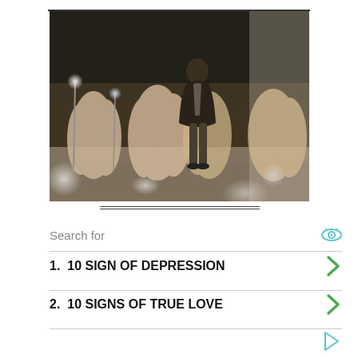[Figure (photo): A person in a dark suit standing outdoors at night, surrounded by ornamental grasses with light glare effects throughout the image.]
Search for
1.  10 SIGN OF DEPRESSION
2.  10 SIGNS OF TRUE LOVE